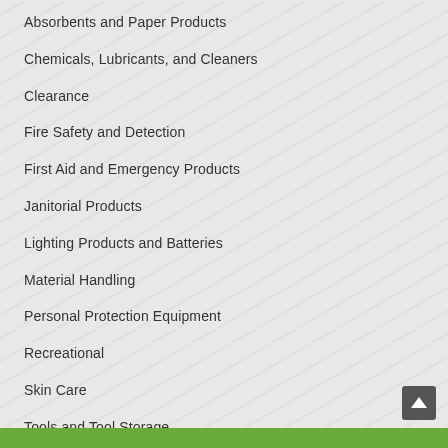Absorbents and Paper Products
Chemicals, Lubricants, and Cleaners
Clearance
Fire Safety and Detection
First Aid and Emergency Products
Janitorial Products
Lighting Products and Batteries
Material Handling
Personal Protection Equipment
Recreational
Skin Care
Tools and Tool Storage
Worker Safety and Security